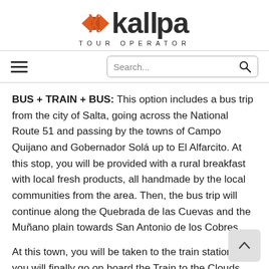[Figure (logo): Kallpa Tour Operator logo with orange X icon and dark grey text]
≡   Search...
BUS + TRAIN + BUS: This option includes a bus trip from the city of Salta, going across the National Route 51 and passing by the towns of Campo Quijano and Gobernador Solá up to El Alfarcito. At this stop, you will be provided with a rural breakfast with local fresh products, all handmade by the local communities from the area. Then, the bus trip will continue along the Quebrada de las Cuevas and the Muñano plain towards San Antonio de los Cobres.
At this town, you will be taken to the train station wh... you will finally go on board the Train to the Clouds th... will take you on an hour ride to the La Polvorilla viaduct